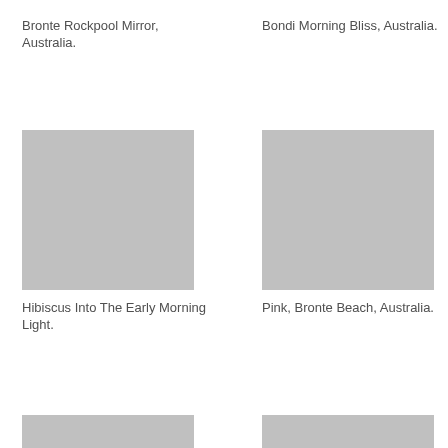Bronte Rockpool Mirror, Australia.
Bondi Morning Bliss, Australia.
[Figure (photo): Gray placeholder image for Bronte Rockpool Mirror, Australia]
[Figure (photo): Gray placeholder image for Bondi Morning Bliss, Australia]
Hibiscus Into The Early Morning Light.
Pink, Bronte Beach, Australia.
[Figure (photo): Gray placeholder image (partially visible) bottom left]
[Figure (photo): Gray placeholder image (partially visible) bottom right]